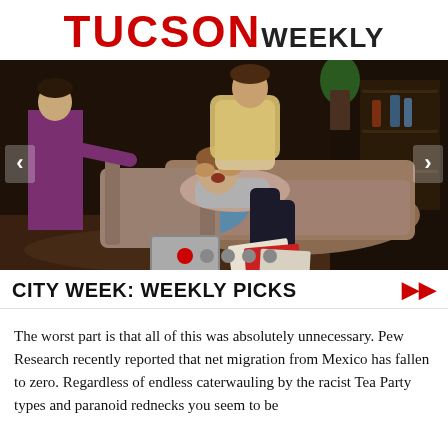TUCSON WEEKLY
[Figure (photo): Theater scene: a person lying back on a floral armchair being grabbed around the neck by another person standing behind the chair, with a third person in purple standing to the left. Papers and a laptop are on the floor. Carousel navigation dots and arrows visible.]
CITY WEEK: WEEKLY PICKS
The worst part is that all of this was absolutely unnecessary. Pew Research recently reported that net migration from Mexico has fallen to zero. Regardless of endless caterwauling by the racist Tea Party types and paranoid rednecks you seem to be